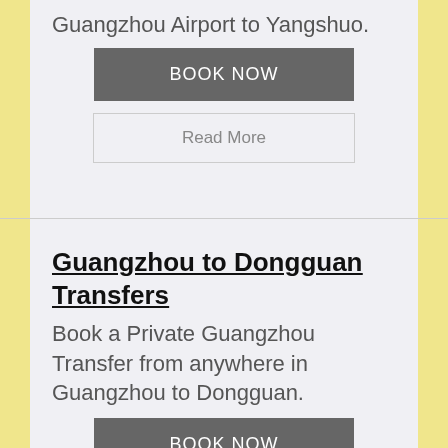Guangzhou Airport to Yangshuo.
BOOK NOW
Read More
Guangzhou to Dongguan Transfers
Book a Private Guangzhou Transfer from anywhere in Guangzhou to Dongguan.
BOOK NOW